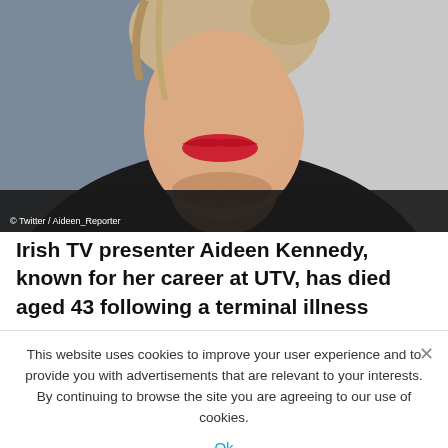[Figure (photo): Close-up photo of a woman (Aideen Kennedy) with blonde hair pulled up, red lips, wearing a dark knit sweater. Photo credit: © Twitter / Aideen_Reporter]
© Twitter / Aideen_Reporter
Irish TV presenter Aideen Kennedy, known for her career at UTV, has died aged 43 following a terminal illness
This website uses cookies to improve your user experience and to provide you with advertisements that are relevant to your interests. By continuing to browse the site you are agreeing to our use of cookies.
Ok